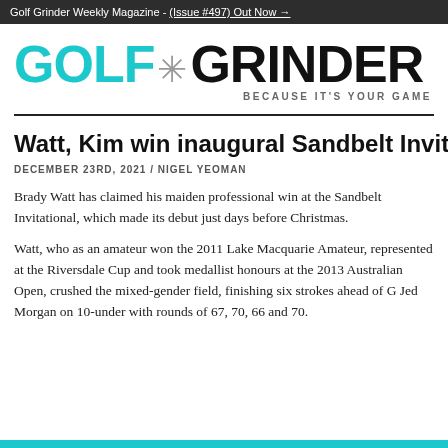Golf Grinder Weekly Magazine - (Issue #497) Out Now →
[Figure (logo): Golf Grinder logo with 'GOLF' in teal and 'GRINDER' in black bold, star separator, tagline 'BECAUSE IT'S YOUR GAME']
Watt, Kim win inaugural Sandbelt Invitational
DECEMBER 23RD, 2021 / NIGEL YEOMAN
Brady Watt has claimed his maiden professional win at the Sandbelt Invitational, which made its debut just days before Christmas.
Watt, who as an amateur won the 2011 Lake Macquarie Amateur, represented at the Riversdale Cup and took medallist honours at the 2013 Australian Open, crushed the mixed-gender field, finishing six strokes ahead of G Jed Morgan on 10-under with rounds of 67, 70, 66 and 70.